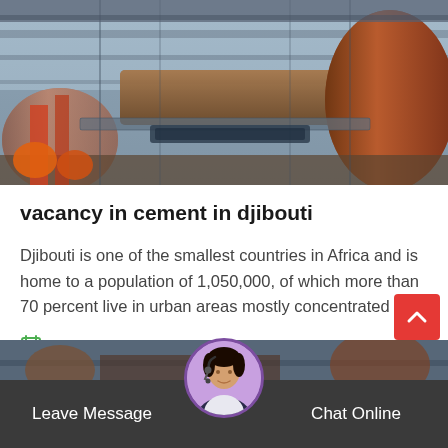[Figure (photo): Industrial cement plant machinery — large cylindrical rotary kilns and pipes in an industrial facility]
vacancy in cement in djibouti
Djibouti is one of the smallest countries in Africa and is home to a population of 1,050,000, of which more than 70 percent live in urban areas mostly concentrated in…
Release Time : Feb_01
[Figure (photo): Partial view of another industrial/cement plant article below]
Leave Message
Chat Online